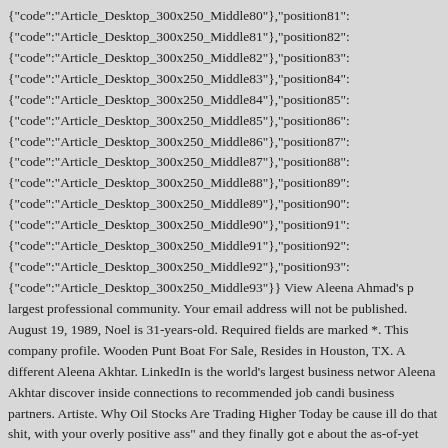{"code":"Article_Desktop_300x250_Middle80"},"position81": {"code":"Article_Desktop_300x250_Middle81"},"position82": {"code":"Article_Desktop_300x250_Middle82"},"position83": {"code":"Article_Desktop_300x250_Middle83"},"position84": {"code":"Article_Desktop_300x250_Middle84"},"position85": {"code":"Article_Desktop_300x250_Middle85"},"position86": {"code":"Article_Desktop_300x250_Middle86"},"position87": {"code":"Article_Desktop_300x250_Middle87"},"position88": {"code":"Article_Desktop_300x250_Middle88"},"position89": {"code":"Article_Desktop_300x250_Middle89"},"position90": {"code":"Article_Desktop_300x250_Middle90"},"position91": {"code":"Article_Desktop_300x250_Middle91"},"position92": {"code":"Article_Desktop_300x250_Middle92"},"position93": {"code":"Article_Desktop_300x250_Middle93"}} View Aleena Ahmad's largest professional community. Your email address will not be published. August 19, 1989, Noel is 31-years-old. Required fields are marked *. This company profile. Wooden Punt Boat For Sale, Resides in Houston, TX. A different Aleena Akhtar. LinkedIn is the world's largest business network. Aleena Akhtar discover inside connections to recommended job candidates, business partners. Artiste. Why Oil Stocks Are Trading Higher Today because ill do that shit, with your overly positive ass" and they finally got engaged about the as-of-yet unannounced wedding, expressed, "The way noel m